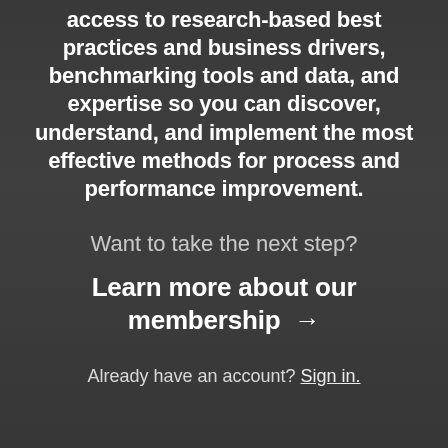access to research-based best practices and business drivers, benchmarking tools and data, and expertise so you can discover, understand, and implement the most effective methods for process and performance improvement.
Want to take the next step?
Learn more about our membership →
Already have an account? Sign in.